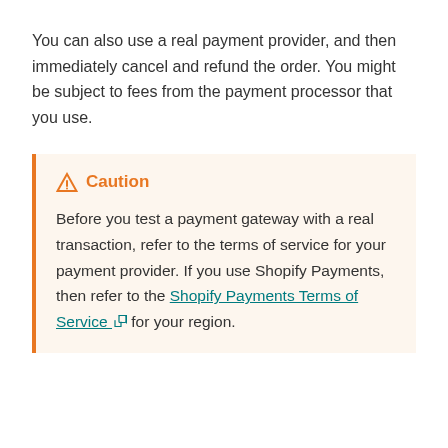You can also use a real payment provider, and then immediately cancel and refund the order. You might be subject to fees from the payment processor that you use.
Caution
Before you test a payment gateway with a real transaction, refer to the terms of service for your payment provider. If you use Shopify Payments, then refer to the Shopify Payments Terms of Service for your region.